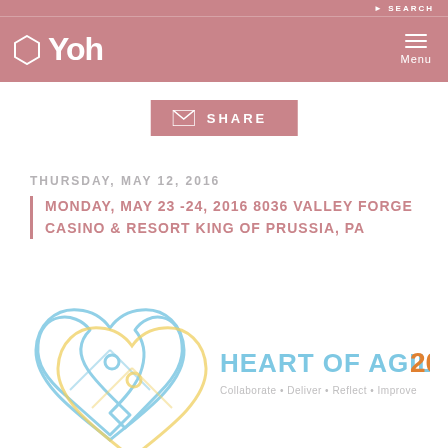SEARCH
Yoh | Menu
SHARE
THURSDAY, MAY 12, 2016
MONDAY, MAY 23 -24, 2016 8036 VALLEY FORGE CASINO & RESORT KING OF PRUSSIA, PA
[Figure (logo): Heart of Agile 2016 logo — two interlocking puzzle pieces in a heart shape, one in light blue and one in light yellow, with text 'HEART OF AGILE 2016' and tagline 'Collaborate • Deliver • Reflect • Improve']